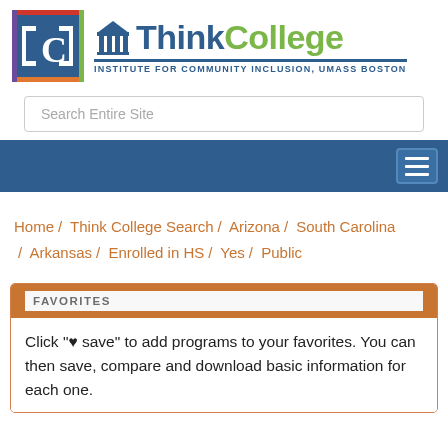[Figure (logo): ICI (Institute for Community Inclusion) logo — colorful square with letters ICI, alongside ThinkCollege text logo with column icon and subtitle 'INSTITUTE FOR COMMUNITY INCLUSION, UMASS BOSTON']
Search Entire Site
[Figure (other): Dark blue navigation bar with hamburger menu icon on the right]
Home / Think College Search / Arizona / South Carolina / Arkansas / Enrolled in HS / Yes / Public
FAVORITES
Click "♥ save" to add programs to your favorites. You can then save, compare and download basic information for each one.